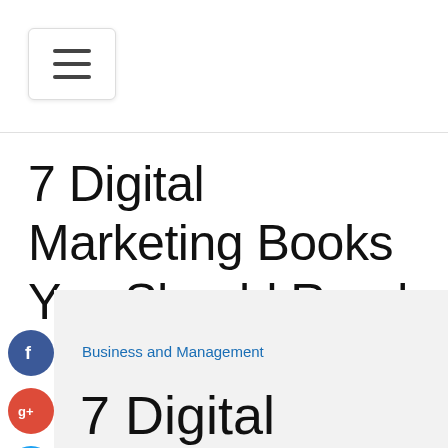[Figure (infographic): Hamburger menu button icon with three horizontal lines, white background with light border]
7 Digital Marketing Books You Should Read
[Figure (infographic): Social share icons: Facebook (blue circle with f), Google+ (red circle with g+), Twitter (blue circle with bird), Plus (dark circle with +)]
Business and Management
7 Digital